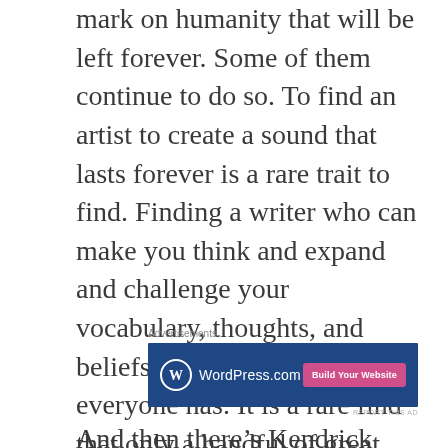mark on humanity that will be left forever. Some of them continue to do so. To find an artist to create a sound that lasts forever is a rare trait to find. Finding a writer who can make you think and expand and challenge your vocabulary, thoughts, and beliefs is not a gift that everyone has. It is a rare find that only a handful of great artists, thinkers, and leaders progress the arts and culture as much as these people have.
[Figure (other): WordPress.com advertisement banner with blue background, WordPress logo on left, and 'Build Your Website' pink button on right. Labeled 'Advertisements' above and 'REPORT THIS AD' below.]
And then there’s Kendrick Lamar.
“Some late fall challenge to stand Kendrick L...